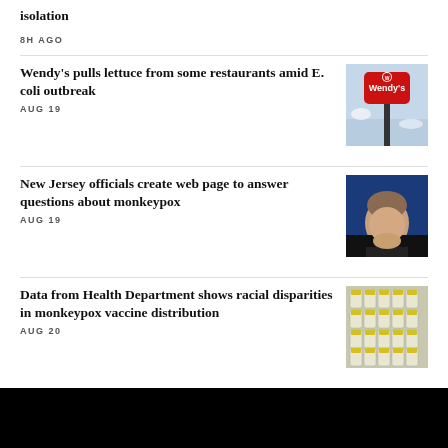isolation
8H AGO
Wendy's pulls lettuce from some restaurants amid E. coli outbreak
AUG 19
[Figure (photo): Wendy's restaurant sign against sky]
New Jersey officials create web page to answer questions about monkeypox
AUG 19
[Figure (photo): Man's face against blue background - NJ official]
Data from Health Department shows racial disparities in monkeypox vaccine distribution
AUG 20
[Figure (photo): Rows of vaccine vials with yellow caps]
Christiana Care will not buy Crozer Health
[Figure (photo): Building exterior photo]